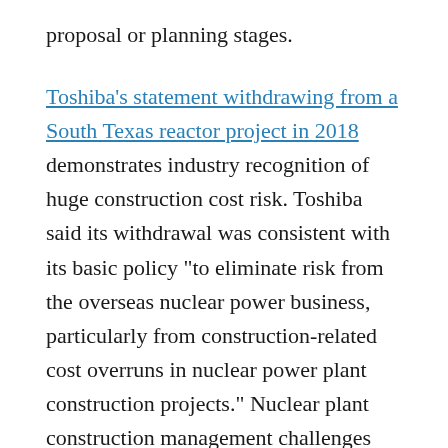proposal or planning stages.
Toshiba's statement withdrawing from a South Texas reactor project in 2018 demonstrates industry recognition of huge construction cost risk. Toshiba said its withdrawal was consistent with its basic policy “to eliminate risk from the overseas nuclear power business, particularly from construction-related cost overruns in nuclear power plant construction projects.” Nuclear plant construction management challenges